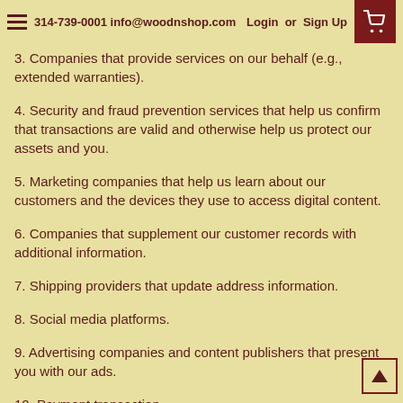314-739-0001 info@woodnshop.com  Login or Sign Up
3. Companies that provide services on our behalf (e.g., extended warranties).
4. Security and fraud prevention services that help us confirm that transactions are valid and otherwise help us protect our assets and you.
5. Marketing companies that help us learn about our customers and the devices they use to access digital content.
6. Companies that supplement our customer records with additional information.
7. Shipping providers that update address information.
8. Social media platforms.
9. Advertising companies and content publishers that present you with our ads.
10. Payment transaction...